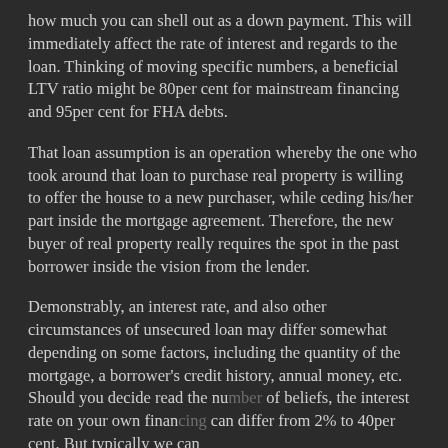how much you can shell out as a down payment. This will immediately affect the rate of interest and regards to the loan. Thinking of moving specific numbers, a beneficial LTV ratio might be 80per cent for mainstream financing and 95per cent for FHA debts.
That loan assumption is an operation whereby the one who took around that loan to purchase real property is willing to offer the house to a new purchaser, while ceding his/her part inside the mortgage agreement. Therefore, the new buyer of real property really requires the spot in the past borrower inside the vision from the lender.
Demonstrably, an interest rate, and also other circumstances of unsecured loan may differ somewhat depending on some factors, including the quantity of the mortgage, a borrower's credit history, annual money, etc. Should you decide read the number of beliefs, the interest rate on your own financing can differ from 2% to 40per cent. But typically we can